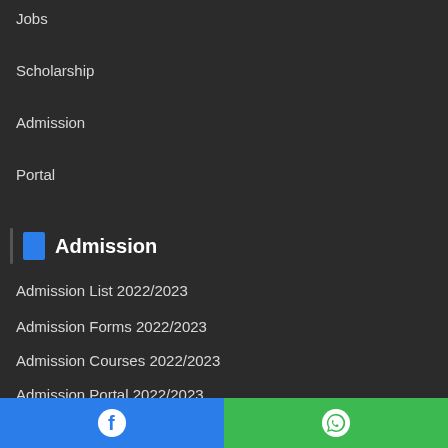Jobs
Scholarship
Admission
Portal
Admission
Admission List 2022/2023
Admission Forms 2022/2023
Admission Courses 2022/2023
Admission Portal 2022/2023
Facebook | WhatsApp